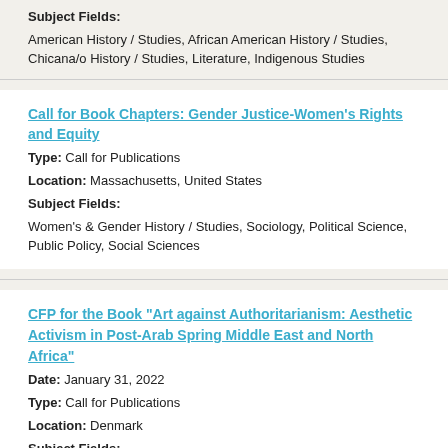Subject Fields: American History / Studies, African American History / Studies, Chicana/o History / Studies, Literature, Indigenous Studies
Call for Book Chapters: Gender Justice-Women's Rights and Equity
Type: Call for Publications
Location: Massachusetts, United States
Subject Fields:
Women's & Gender History / Studies, Sociology, Political Science, Public Policy, Social Sciences
CFP for the Book "Art against Authoritarianism: Aesthetic Activism in Post-Arab Spring Middle East and North Africa"
Date: January 31, 2022
Type: Call for Publications
Location: Denmark
Subject Fields:
Art, Art History & Visual Studies, Humanities, Social Sciences, Sociology, Middle East History / Studies